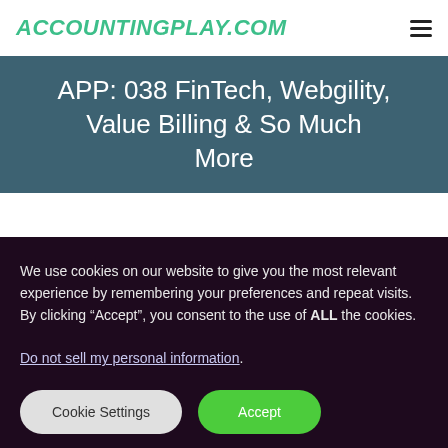ACCOUNTINGPLAY.COM
APP: 038 FinTech, Webgility, Value Billing & So Much More
We use cookies on our website to give you the most relevant experience by remembering your preferences and repeat visits. By clicking “Accept”, you consent to the use of ALL the cookies. Do not sell my personal information.
Cookie Settings  Accept